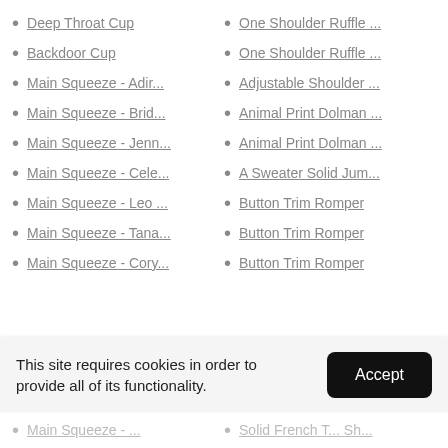Deep Throat Cup
One Shoulder Ruffle ...
Backdoor Cup
One Shoulder Ruffle ...
Main Squeeze - Adir...
Adjustable Shoulder ...
Main Squeeze - Brid...
Animal Print Dolman ...
Main Squeeze - Jenn...
Animal Print Dolman ...
Main Squeeze - Cele...
A Sweater Solid Jum...
Main Squeeze - Leo ...
Button Trim Romper
Main Squeeze - Tana...
Button Trim Romper
Main Squeeze - Cory...
Button Trim Romper
This site requires cookies in order to provide all of its functionality.
Main Squeeze - ...
Solid French T... Sh...